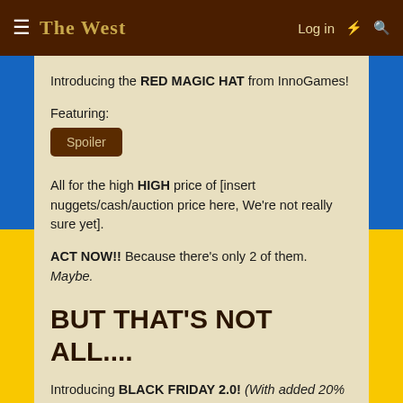The West — Log in
Introducing the RED MAGIC HAT from InnoGames!
Featuring:
Spoiler
All for the high HIGH price of [insert nuggets/cash/auction price here, We're not really sure yet].
ACT NOW!! Because there's only 2 of them. Maybe.
BUT THAT'S NOT ALL....
Introducing BLACK FRIDAY 2.0! (With added 20% discount!)